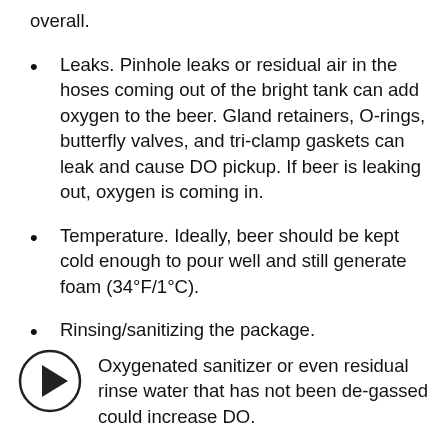overall.
Leaks. Pinhole leaks or residual air in the hoses coming out of the bright tank can add oxygen to the beer. Gland retainers, O-rings, butterfly valves, and tri-clamp gaskets can leak and cause DO pickup. If beer is leaking out, oxygen is coming in.
Temperature. Ideally, beer should be kept cold enough to pour well and still generate foam (34°F/1°C).
Rinsing/sanitizing the package. Oxygenated sanitizer or even residual rinse water that has not been de-gassed could increase DO.